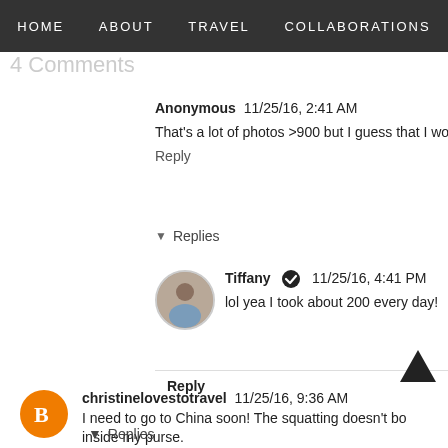HOME  ABOUT  TRAVEL  COLLABORATIONS
4 Comments
Anonymous  11/25/16, 2:41 AM
That's a lot of photos >900 but I guess that I would have ended up
Reply
▼  Replies
Tiffany ✔  11/25/16, 4:41 PM
lol yea I took about 200 every day!
Reply
christinelovestotravel  11/25/16, 9:36 AM
I need to go to China soon! The squatting doesn't bother me but
inside my purse.
Reply
▼  Replies